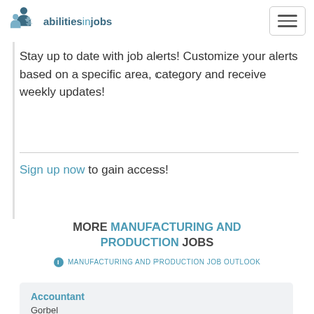abilitiesinjobs
Stay up to date with job alerts! Customize your alerts based on a specific area, category and receive weekly updates!
Sign up now to gain access!
MORE MANUFACTURING AND PRODUCTION JOBS
MANUFACTURING AND PRODUCTION JOB OUTLOOK
Accountant
Gorbel